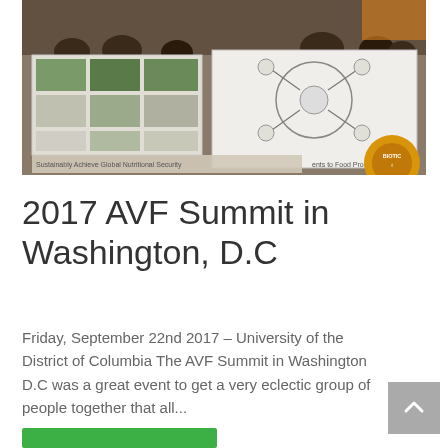[Figure (photo): Photo of a presentation/conference event showing screens with slides about sustainable food production and nutritional security, audience silhouettes visible in background.]
2017 AVF Summit in Washington, D.C
Friday, September 22nd 2017 – University of the District of Columbia The AVF Summit in Washington D.C was a great event to get a very eclectic group of people together that all...